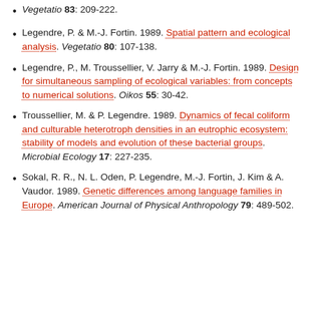Vegetatio 83: 209-222. [partial, top of page]
Legendre, P. & M.-J. Fortin. 1989. Spatial pattern and ecological analysis. Vegetatio 80: 107-138.
Legendre, P., M. Troussellier, V. Jarry & M.-J. Fortin. 1989. Design for simultaneous sampling of ecological variables: from concepts to numerical solutions. Oikos 55: 30-42.
Troussellier, M. & P. Legendre. 1989. Dynamics of fecal coliform and culturable heterotroph densities in an eutrophic ecosystem: stability of models and evolution of these bacterial groups. Microbial Ecology 17: 227-235.
Sokal, R. R., N. L. Oden, P. Legendre, M.-J. Fortin, J. Kim & A. Vaudor. 1989. Genetic differences among language families in Europe. American Journal of Physical Anthropology 79: 489-502.